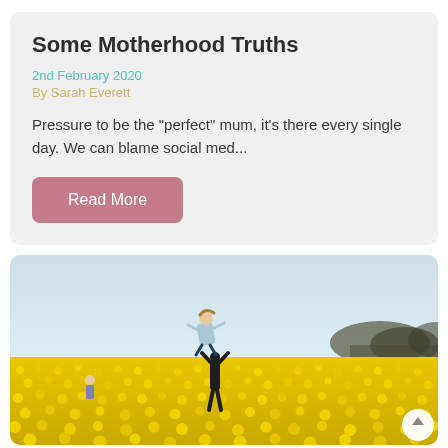Some Motherhood Truths
2nd February 2020
By Sarah Everett
Pressure to be the "perfect" mum, it's there every single day. We can blame social med...
Read More
[Figure (photo): A mother lifting a child high above a vibrant yellow rapeseed field, with trees in the background and a light blue sky.]